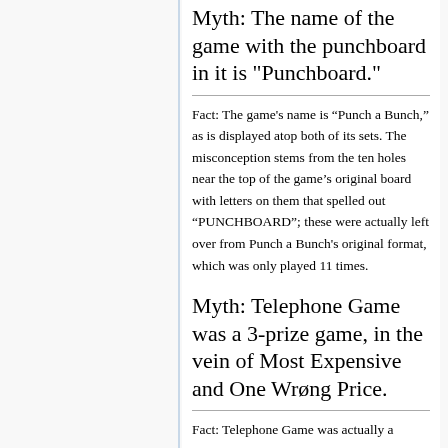Myth: The name of the game with the punchboard in it is "Punchboard."
Fact: The game's name is “Punch a Bunch,” as is displayed atop both of its sets. The misconception stems from the ten holes near the top of the game’s original board with letters on them that spelled out “PUNCHBOARD”; these were actually left over from Punch a Bunch’s original format, which was only played 11 times.
Myth: Telephone Game was a 3-prize game, in the vein of Most Expensive and One Wrøng Price.
Fact: Telephone Game was actually a